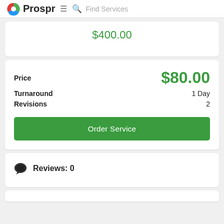Prospr  ≡  🔍 Find Services
$400.00
Price  $80.00
Turnaround  1 Day
Revisions  2
Order Service
Reviews: 0